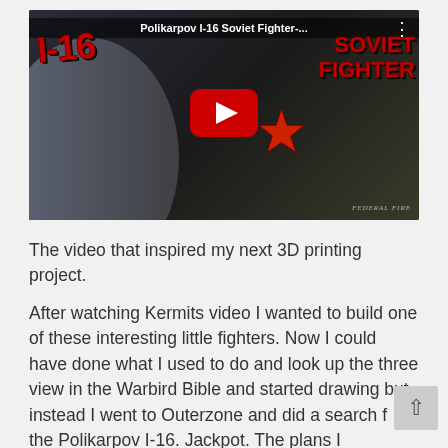[Figure (screenshot): YouTube video thumbnail for 'Polikarpov I-16 Soviet Fighter' showing a man in a dark shirt next to an aircraft with a red star, overlaid with large red text 'I-16 SOVIET FIGHTER' and a YouTube play button in the center.]
The video that inspired my next 3D printing project.
After watching Kermits video I wanted to build one of these interesting little fighters. Now I could have done what I used to do and look up the three view in the Warbird Bible and started drawing but instead I went to Outerzone and did a search for the Polikarpov I-16. Jackpot. The plans I downloaded are below. Stay tuned and I'll do